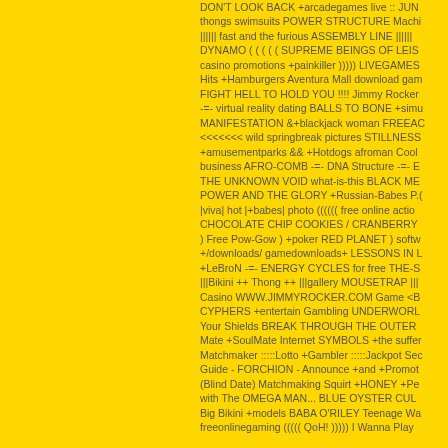DON'T LOOK BACK +arcadegames live :: JUN thongs swimsuits POWER STRUCTURE Machi |||||| fast and the furious ASSEMBLY LINE |||||| DYNAMO ( ( ( ( ( SUPREME BEINGS OF LEIS casino promotions +painkiller ))))) LIVEGAMES Hits +Hamburgers Aventura Mall download gam FIGHT HELL TO HOLD YOU !!!! Jimmy Rocker -=- virtual reality dating BALLS TO BONE +simu MANIFESTATION &+blackjack woman FREEAC <<<<<<< wild springbreak pictures STILLNESS +amusementparks && +Hotdogs afroman Cool business AFRO-COMB -=- DNA Structure -=- E THE UNKNOWN VOID what-is-this BLACK ME POWER AND THE GLORY +Russian-Babes P.( |viva| hot |+babes| photo (((((( free online actio CHOCOLATE CHIP COOKIES / CRANBERRY ) Free Pow-Gow ) +poker RED PLANET ) softw +/downloads/ gamedownloads+ LESSONS IN L +LeBroN -=- ENERGY CYCLES for free THE-S |||Bikini ++ Thong ++ |||gallery MOUSETRAP ||| Casino WWW.JIMMYROCKER.COM Game <B CYPHERS +entertain Gambling UNDERWORL Your Shields BREAK THROUGH THE OUTER Mate +SoulMate Internet SYMBOLS +the suffer Matchmaker :::::Lotto +Gambler :::::Jackpot Sec Guide - FORCHION - Announce +and +Promot (Blind Date) Matchmaking Squirt +HONEY +Pe with The OMEGA MAN... BLUE OYSTER CUL Big Bikini +models BABA O'RILEY Teenage Wa freeonlinegaming ((((( QoH! ))))) I Wanna Play